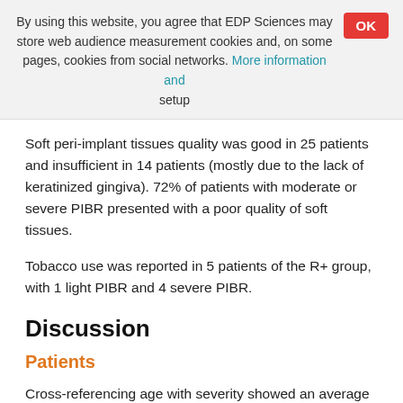By using this website, you agree that EDP Sciences may store web audience measurement cookies and, on some pages, cookies from social networks. More information and setup
Soft peri-implant tissues quality was good in 25 patients and insufficient in 14 patients (mostly due to the lack of keratinized gingiva). 72% of patients with moderate or severe PIBR presented with a poor quality of soft tissues.
Tobacco use was reported in 5 patients of the R+ group, with 1 light PIBR and 4 severe PIBR.
Discussion
Patients
Cross-referencing age with severity showed an average age of 50 years for light resorptions (9 patients) and 59.4 years for more severe cases (12 patients). Age seemed to display both